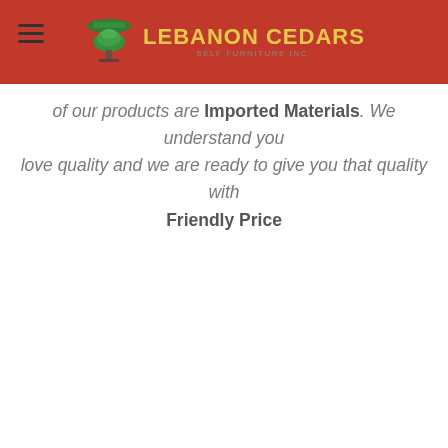Lebanon Cedars
of our products are Imported Materials. We understand you love quality and we are ready to give you that quality with Friendly Price